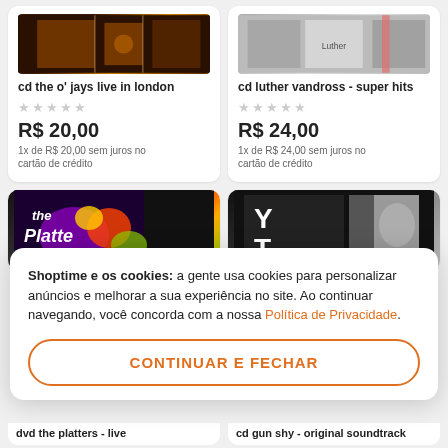[Figure (screenshot): Product card image for cd the o jays live in london - dark orange album cover]
cd the o' jays live in london
★★★★★
R$ 20,00
1x de R$ 20,00 sem juros no cartão de crédito
[Figure (screenshot): Product card image for cd luther vandross super hits - grey album cover]
cd luther vandross - super hits
★★★★★
R$ 24,00
1x de R$ 24,00 sem juros no cartão de crédito
[Figure (screenshot): Partial product card image for dvd the platters live - colorful album cover]
[Figure (screenshot): Partial product card image for cd gun shy original soundtrack - black and white cover]
Shoptime e os cookies: a gente usa cookies para personalizar anúncios e melhorar a sua experiência no site. Ao continuar navegando, você concorda com a nossa Política de Privacidade.
CONTINUAR E FECHAR
dvd the platters - live
cd gun shy - original soundtrack